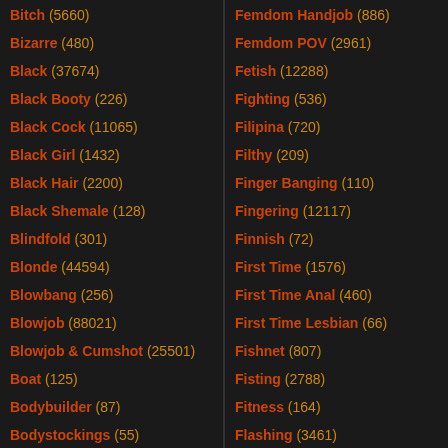Bitch (5660)
Bizarre (480)
Black (37674)
Black Booty (226)
Black Cock (11065)
Black Girl (1432)
Black Hair (2200)
Black Shemale (128)
Blindfold (301)
Blonde (44594)
Blowbang (256)
Blowjob (88021)
Blowjob & Cumshot (25501)
Boat (125)
Bodybuilder (87)
Bodystockings (55)
Femdom Handjob (886)
Femdom POV (2961)
Fetish (12288)
Fighting (536)
Filipina (720)
Filthy (209)
Finger Banging (110)
Fingering (12117)
Finnish (72)
First Time (1576)
First Time Anal (460)
First Time Lesbian (66)
Fishnet (807)
Fisting (2788)
Fitness (164)
Flashing (3461)